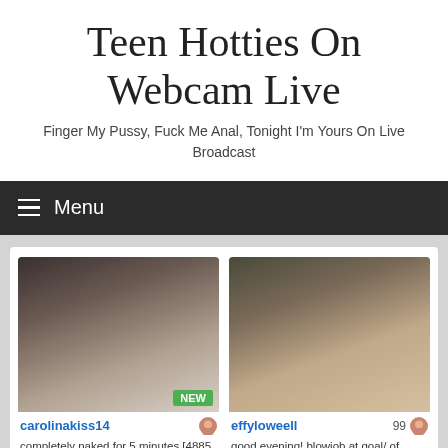Teen Hotties On Webcam Live
Finger My Pussy, Fuck Me Anal, Tonight I'm Yours On Live Broadcast
Menu
carolinakiss14 — completely naked for 5 minutes [4885 tokens remaining]
effyloweell 99 — good evening! blowjob at goal/ of @lowelleffy #ink [3327 tokens